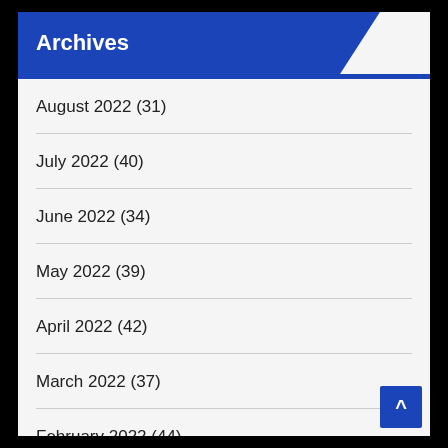Archives
August 2022 (31)
July 2022 (40)
June 2022 (34)
May 2022 (39)
April 2022 (42)
March 2022 (37)
February 2022 (44)